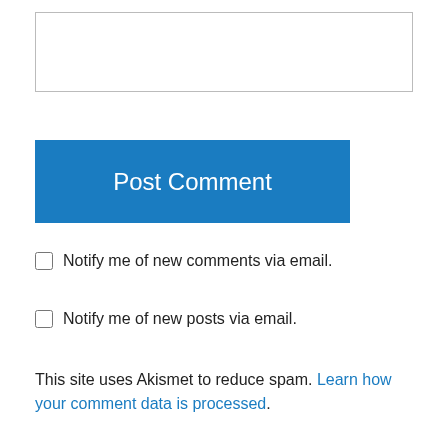[Figure (other): Empty textarea input box for comment]
Post Comment
Notify me of new comments via email.
Notify me of new posts via email.
This site uses Akismet to reduce spam. Learn how your comment data is processed.
Joanne West on December 18, 2015 at 7:57 pm
Congratulations. You did it.
Like
Reply